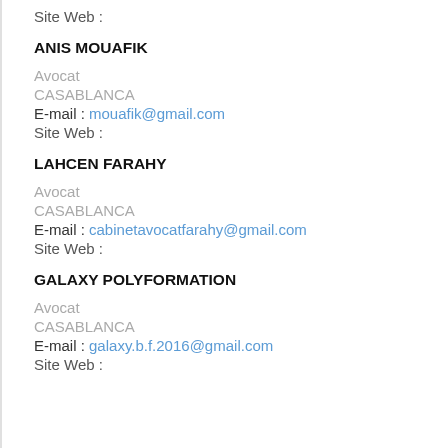Site Web :
ANIS MOUAFIK
Avocat
CASABLANCA
E-mail : mouafik@gmail.com
Site Web :
LAHCEN FARAHY
Avocat
CASABLANCA
E-mail : cabinetavocatfarahy@gmail.com
Site Web :
GALAXY POLYFORMATION
Avocat
CASABLANCA
E-mail : galaxy.b.f.2016@gmail.com
Site Web :